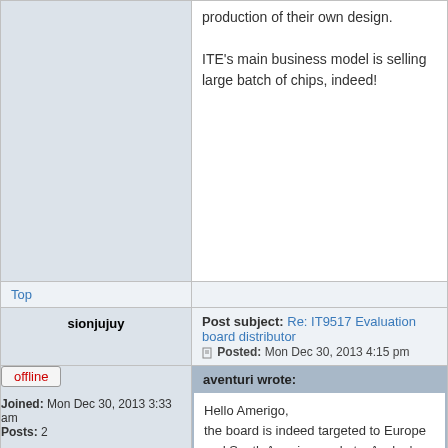production of their own design.

ITE's main business model is selling large batch of chips, indeed!
Top
Post subject: Re: IT9517 Evaluation board distributor
Posted: Mon Dec 30, 2013 4:15 pm
sionjujuy
offline
Joined: Mon Dec 30, 2013 3:33 am
Posts: 2
aventuri wrote:
Hello Amerigo,
the board is indeed targeted to Europe and South America markets. Avalpa's actual aim is to raise enough interest on selected customers.

This card is not meant for general purpose but it's mainly targeting professionals/firms who want to evaluate its features and achieve confidence for a further mass